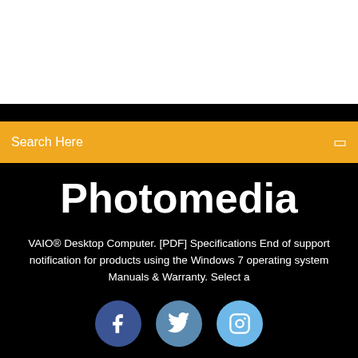Search Here
Photomedia
VAIO® Desktop Computer. [PDF] Specifications End of support notification for products using the Windows 7 operating system Manuals & Warranty. Select a
[Figure (other): Three social media icons: Facebook (dark blue circle with f), Twitter (medium blue circle with bird), Instagram (light blue circle with camera outline)]